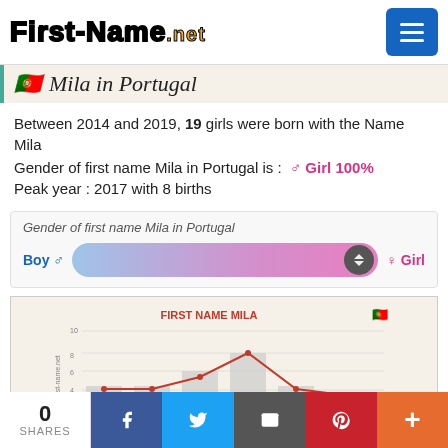[Figure (logo): First-Name.net logo with hamburger menu button]
Mila in Portugal
Between 2014 and 2019, 19 girls were born with the Name Mila
Gender of first name Mila in Portugal is : ♂ Girl 100%
Peak year : 2017 with 8 births
[Figure (infographic): Gender slider bar showing Boy on left and Girl on right, with thumb near right end indicating 100% Girl]
[Figure (bar-chart): Bar chart showing births of name Mila in Portugal over years, with a red line showing trend peaking around 2017 at 8 births]
0 SHARES  f  Twitter  Email  Pinterest  +